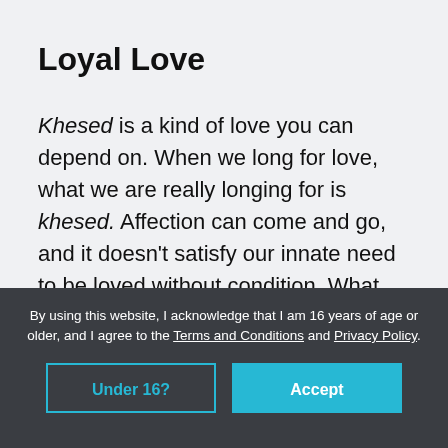Loyal Love
Khesed is a kind of love you can depend on. When we long for love, what we are really longing for is khesed. Affection can come and go, and it doesn't satisfy our innate need to be loved without condition. What we really want is a loyal affection not driven by strict or boundless obligation but by
By using this website, I acknowledge that I am 16 years of age or older, and I agree to the Terms and Conditions and Privacy Policy.
Under 16?
Accept